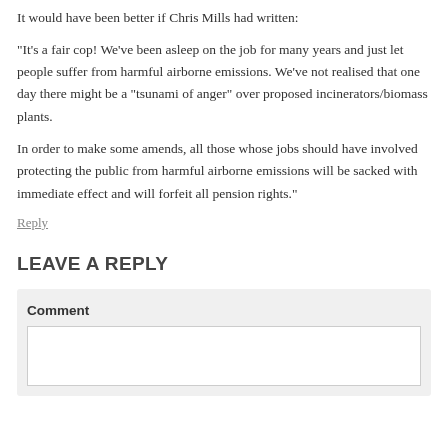It would have been better if Chris Mills had written:
“It’s a fair cop! We’ve been asleep on the job for many years and just let people suffer from harmful airborne emissions. We’ve not realised that one day there might be a “tsunami of anger” over proposed incinerators/biomass plants.
In order to make some amends, all those whose jobs should have involved protecting the public from harmful airborne emissions will be sacked with immediate effect and will forfeit all pension rights.”
Reply
LEAVE A REPLY
Comment